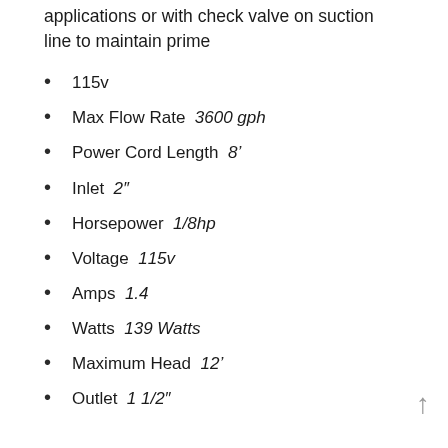applications or with check valve on suction line to maintain prime
115v
Max Flow Rate  3600 gph
Power Cord Length  8'
Inlet  2"
Horsepower  1/8hp
Voltage  115v
Amps  1.4
Watts  139 Watts
Maximum Head  12'
Outlet  1 1/2"